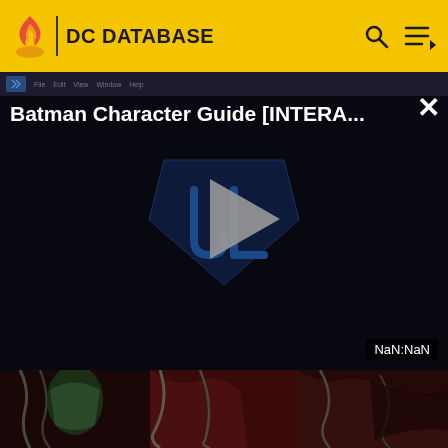DC DATABASE
[Figure (screenshot): Video player showing 'Batman Character Guide [INTERA...' with DC/Justice League logo and play button on dark background. Bottom-right shows 'NaN:NaN' timestamp.]
[Figure (illustration): Comic book art showing a dark figure (possibly Batman villain) wrapped in chains against a red/dark background.]